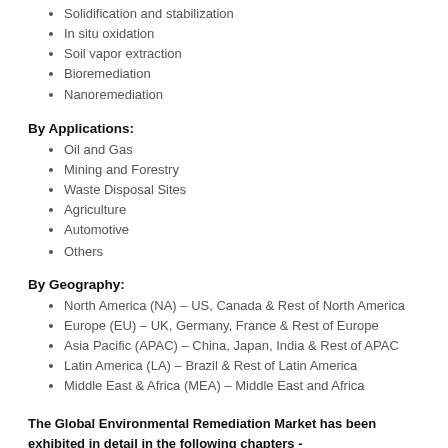Solidification and stabilization
In situ oxidation
Soil vapor extraction
Bioremediation
Nanoremediation
By Applications:
Oil and Gas
Mining and Forestry
Waste Disposal Sites
Agriculture
Automotive
Others
By Geography:
North America (NA) – US, Canada & Rest of North America
Europe (EU) – UK, Germany, France & Rest of Europe
Asia Pacific (APAC) – China, Japan, India & Rest of APAC
Latin America (LA) – Brazil & Rest of Latin America
Middle East & Africa (MEA) – Middle East and Africa
The Global Environmental Remediation Market has been exhibited in detail in the following chapters -
Chapter 1 Environmental Remediation Market Preface